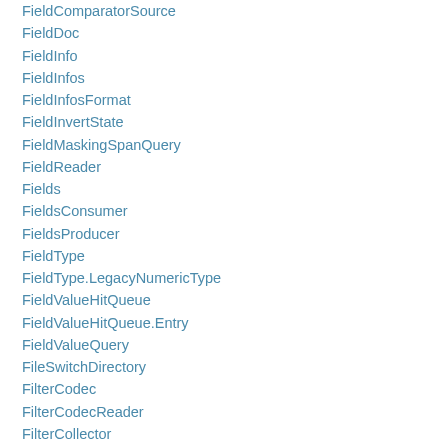FieldComparatorSource
FieldDoc
FieldInfo
FieldInfos
FieldInfosFormat
FieldInvertState
FieldMaskingSpanQuery
FieldReader
Fields
FieldsConsumer
FieldsProducer
FieldType
FieldType.LegacyNumericType
FieldValueHitQueue
FieldValueHitQueue.Entry
FieldValueQuery
FileSwitchDirectory
FilterCodec
FilterCodecReader
FilterCollector
FilterDirectory
FilterDirectoryReader
FilterDirectoryReader.SubReaderWrapper
FilteredDocIdSetIterator
FilteredTermsEnum
FilteredTermsEnum.AcceptStatus
FilteringTokenFilter
FilterIterator
FilterLeafCollector